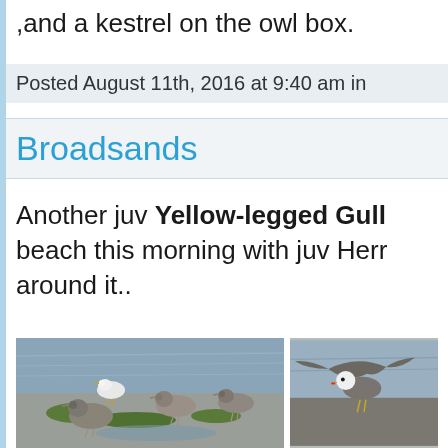,and a kestrel on the owl box.
Posted August 11th, 2016 at 9:40 am in
Broadsands
Another juv Yellow-legged Gull beach this morning with juv Herr around it..
[Figure (photo): Group of juvenile gulls standing on rocky beach with seaweed and water in background]
[Figure (photo): Partial view of gulls including one with spread wings near water]